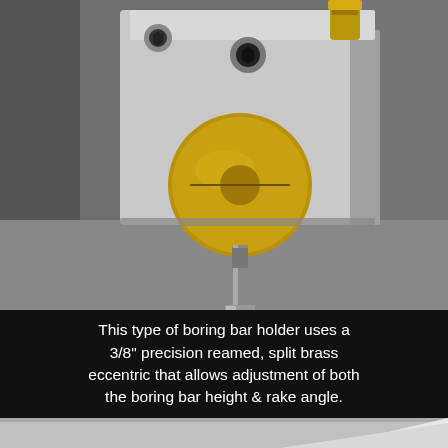[Figure (photo): Close-up photograph of a boring bar holder made from a silver/aluminum metal block with a brass eccentric disc and a steel boring bar tool inserted through it. The block has hex socket bolt holes visible on its top face. The brass eccentric is a large circular disc with a split, and the boring bar (a thin steel rod with a small cutting tip) protrudes from the bottom center of the block.]
This type of boring bar holder uses a 3/8" precision reamed, split brass eccentric that allows adjustment of both the boring bar height & rake angle.
[Figure (photo): Partial photograph showing the bottom portion of another boring bar holder or related machined component, partially visible at the bottom of the page against a grey surface.]